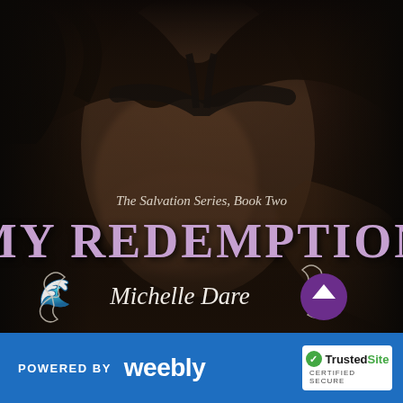[Figure (illustration): Book cover for 'My Redemption' by Michelle Dare. The Salvation Series, Book Two. Shows a close-up of a woman's torso in a dark sports bra with another person's hand around her waist. Dark, moody photography with warm brown tones. Large purple/lavender title text 'MY REDEMPTION' and italic author name 'Michelle Dare' with decorative swirls. A purple circular up-arrow button overlays the bottom right.]
POWERED BY weebly   TrustedSite CERTIFIED SECURE